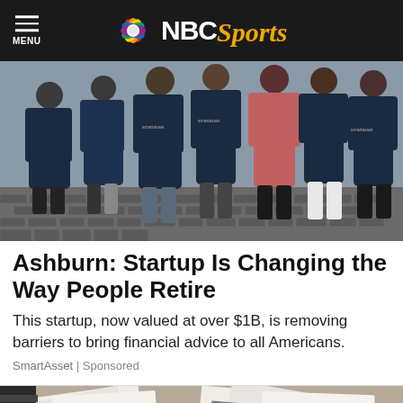NBC Sports
[Figure (photo): Group photo of several people wearing dark SmartAsset branded t-shirts standing outdoors on a cobblestone street]
Ashburn: Startup Is Changing the Way People Retire
This startup, now valued at over $1B, is removing barriers to bring financial advice to all Americans.
SmartAsset | Sponsored
[Figure (photo): Close-up photo of papers, documents and money spread on a surface]